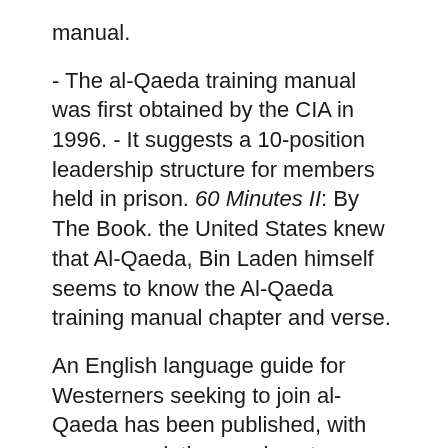manual.
- The al-Qaeda training manual was first obtained by the CIA in 1996. - It suggests a 10-position leadership structure for members held in prison. 60 Minutes II: By The Book. the United States knew that Al-Qaeda, Bin Laden himself seems to know the Al-Qaeda training manual chapter and verse.
An English language guide for Westerners seeking to join al-Qaeda has been published, with recommendations on how to cope with the hardships and dangers of life as Cops: Man was pleasuring wife while seated inside parked van.